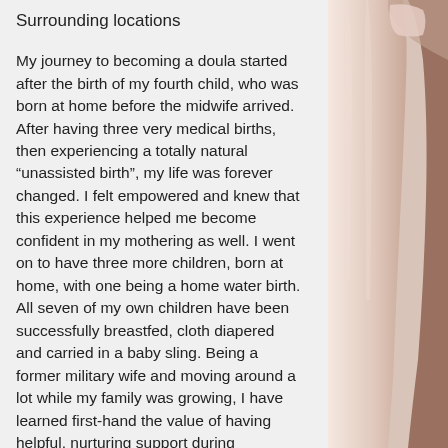Surrounding locations
My journey to becoming a doula started after the birth of my fourth child, who was born at home before the midwife arrived. After having three very medical births, then experiencing a totally natural “unassisted birth”, my life was forever changed. I felt empowered and knew that this experience helped me become confident in my mothering as well. I went on to have three more children, born at home, with one being a home water birth. All seven of my own children have been successfully breastfed, cloth diapered and carried in a baby sling. Being a former military wife and moving around a lot while my family was growing, I have learned first-hand the value of having helpful, nurturing support during pregnancy and especially those first few months after the baby is born. My goal is [obscured] the transition to
[Figure (photo): Close-up photo of a hand, likely a newborn or infant hand, with skin tones in warm peach and neutral tones visible on the right side of the page.]